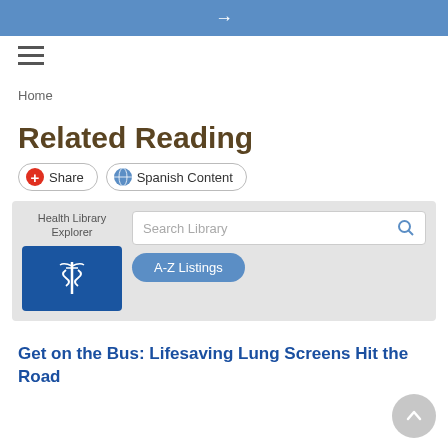→
[Figure (screenshot): Hamburger menu icon (three horizontal lines)]
Home
Related Reading
[Figure (screenshot): Share button with red plus icon and Spanish Content button with globe icon]
[Figure (screenshot): Health Library Explorer widget with search box and A-Z Listings button]
Get on the Bus: Lifesaving Lung Screens Hit the Road